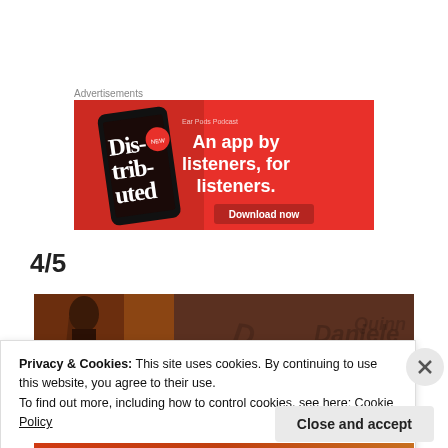Advertisements
[Figure (illustration): Red advertisement banner for a podcast app showing a phone with 'Distributed' text, with headline 'An app by listeners, for listeners.' and a Download now button]
4/5
[Figure (photo): Photo showing graffiti on a wall, partially visible]
Privacy & Cookies: This site uses cookies. By continuing to use this website, you agree to their use.
To find out more, including how to control cookies, see here: Cookie Policy
Close and accept